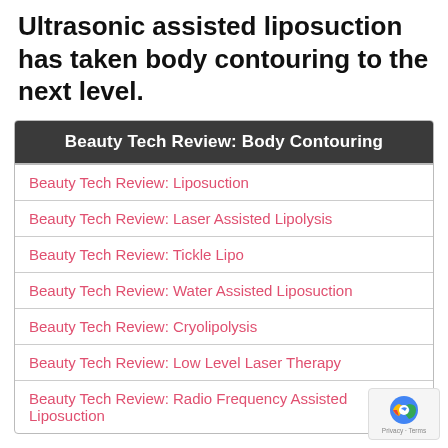Ultrasonic assisted liposuction has taken body contouring to the next level.
| Beauty Tech Review: Body Contouring |
| --- |
| Beauty Tech Review: Liposuction |
| Beauty Tech Review: Laser Assisted Lipolysis |
| Beauty Tech Review: Tickle Lipo |
| Beauty Tech Review: Water Assisted Liposuction |
| Beauty Tech Review: Cryolipolysis |
| Beauty Tech Review: Low Level Laser Therapy |
| Beauty Tech Review: Radio Frequency Assisted Liposuction |
As liposuction procedures have evolved from a dangerous